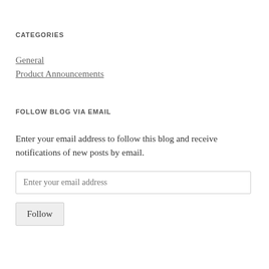CATEGORIES
General
Product Announcements
FOLLOW BLOG VIA EMAIL
Enter your email address to follow this blog and receive notifications of new posts by email.
Enter your email address
Follow